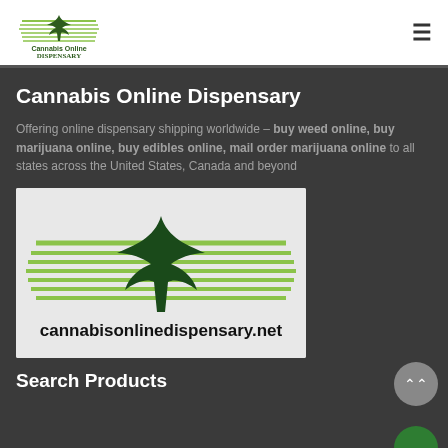Cannabis Online Dispensary logo and navigation menu
Cannabis Online Dispensary
Offering online dispensary shipping worldwide – buy weed online, buy marijuana online, buy edibles online, mail order marijuana online to all states across the United States, Canada and beyond
[Figure (logo): Cannabis Online Dispensary logo with cannabis leaf and horizontal green lines, with text cannabisonlinedispensary.net at the bottom]
Search Products